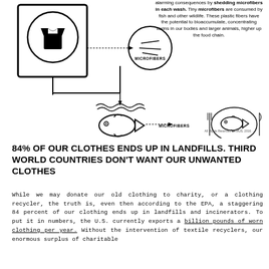[Figure (infographic): Diagram showing a washing machine with clothes inside, pipes leading to a circular magnified view labeled MICROFIBERS, water flowing down to fish below, and then dotted arrow labeled MICROFIBERS pointing to a fish on a plate with fork and knife. Illustrates microfiber pollution cycle from laundry to food chain.]
alarming consequences by shedding microfibers in each wash. Tiny microfibers are consumed by fish and other wildlife. These plastic fibers have the potential to bioaccumulate, concentrating toxins in our bodies and larger animals, higher up the food chain.
All Rights Reserved LITMUS, 2016
84% OF OUR CLOTHES ENDS UP IN LANDFILLS. THIRD WORLD COUNTRIES DON'T WANT OUR UNWANTED CLOTHES
While we may donate our old clothing to charity, or a clothing recycler, the truth is, even then according to the EPA, a staggering 84 percent of our clothing ends up in landfills and incinerators. To put it in numbers, the U.S. currently exports a billion pounds of worn clothing per year. Without the intervention of textile recyclers, our enormous surplus of charitable